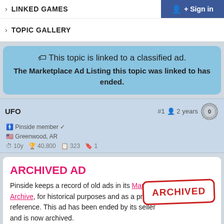LINKED GAMES
TOPIC GALLERY
🏷 This topic is linked to a classified ad. The Marketplace Ad Listing this topic was linked to has ended.
UFO  #1  2 years  Pinside member ✓  Greenwood, AR  10y  40,800  323  1
ARCHIVED AD
Pinside keeps a record of old ads in its Market Archive, for historical purposes and as a price reference. This ad has been ended by its seller and is now archived.